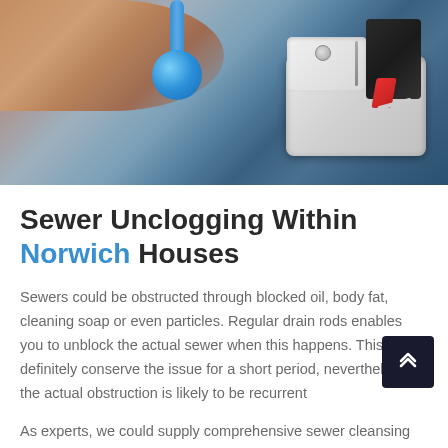[Figure (photo): Close-up photo of a person's hand working on toilet cistern internals — a blue float ball and pipe, white cylindrical mechanism, and black/red valve components visible inside the cistern tank.]
Sewer Unclogging Within Norwich Houses
Sewers could be obstructed through blocked oil, body fat, cleaning soap or even particles. Regular drain rods enables you to unblock the actual sewer when this happens. This will definitely conserve the issue for a short period, nevertheless, the actual obstruction is likely to be recurrent
As experts, we could supply comprehensive sewer cleansing